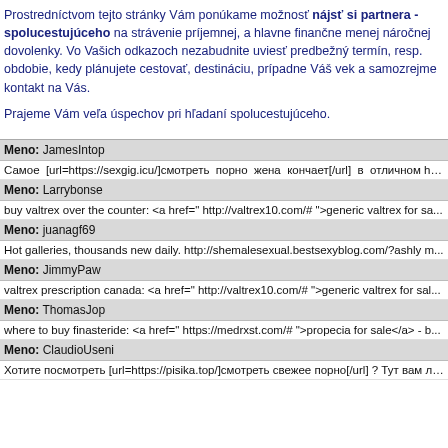Prostredníctvom tejto stránky Vám ponúkame možnosť nájsť si partnera - spolucestujúceho na strávenie príjemnej, a hlavne finančne menej náročnej dovolenky. Vo Vašich odkazoch nezabudnite uviesť predbežný termín, resp. obdobie, kedy plánujete cestovať, destináciu, prípadne Váš vek a samozrejme kontakt na Vás.
Prajeme Vám veľa úspechov pri hľadaní spolucestujúceho.
Meno: JamesIntop — Самое [url=https://sexgig.icu/]смотреть порно жена кончает[/url] в отличном https://sexgig.icu/categories/%D0%9B%D0%B5%D1%81%D0%B1%D0%B8%D0%B9%D1%81...
Meno: Larrybonse — buy valtrex over the counter: <a href=" http://valtrex10.com/# ">generic valtrex for sa...
Meno: juanagf69 — Hot galleries, thousands new daily. http://shemalesexual.bestsexyblog.com/?ashly m...
Meno: JimmyPaw — valtrex prescription canada: <a href=" http://valtrex10.com/# ">generic valtrex for sal...
Meno: ThomasJop — where to buy finasteride: <a href=" https://medrxst.com/# ">propecia for sale</a> - b...
Meno: ClaudioUseni — Хотите посмотреть [url=https://pisika.top/]смотреть свежее порно[/url] ? Тут вам лучшие видео[url] с лучшими красотками либо посмотреть https://pisika...